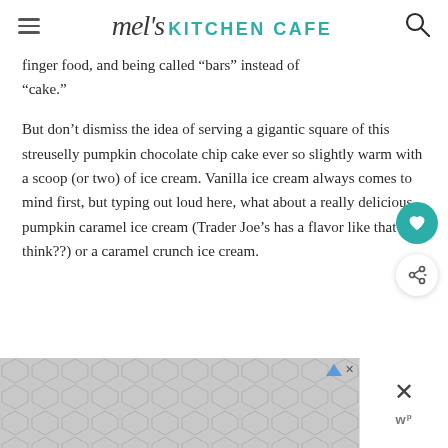mel's KITCHEN CAFE
finger food, and being called "bars" instead of "cake."
But don't dismiss the idea of serving a gigantic square of this streuselly pumpkin chocolate chip cake ever so slightly warm with a scoop (or two) of ice cream. Vanilla ice cream always comes to mind first, but typing out loud here, what about a really delicious pumpkin caramel ice cream (Trader Joe's has a flavor like that I think??) or a caramel crunch ice cream.
[Figure (other): Advertisement banner with geometric hexagon pattern in grey, with close button and WordPerfect badge]